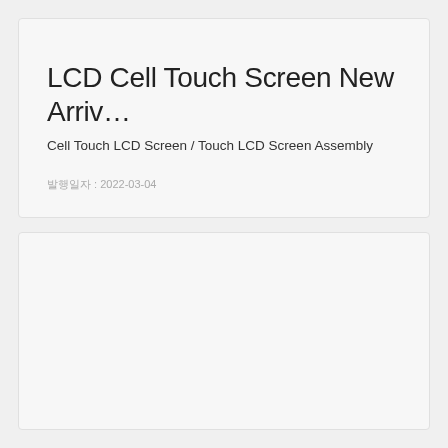LCD Cell Touch Screen New Arriv…
Cell Touch LCD Screen / Touch LCD Screen Assembly
발행일자 : 2022-03-04